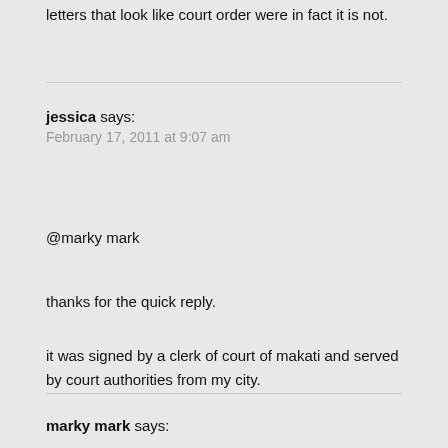letters that look like court order were in fact it is not.
jessica says:
February 17, 2011 at 9:07 am
@marky mark
thanks for the quick reply.
it was signed by a clerk of court of makati and served by court authorities from my city.
marky mark says: